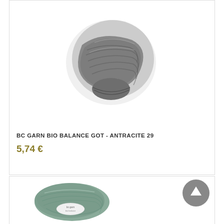[Figure (photo): A skein of dark gray/anthracite yarn on a white background, bunched and folded, held together with white paper ties]
BC GARN BIO BALANCE GOT - ANTRACITE 29
5,74 €
[Figure (photo): A skein of sage/muted green yarn on a white background, with a branded label visible, and a circular scroll-up arrow button in the top right corner]